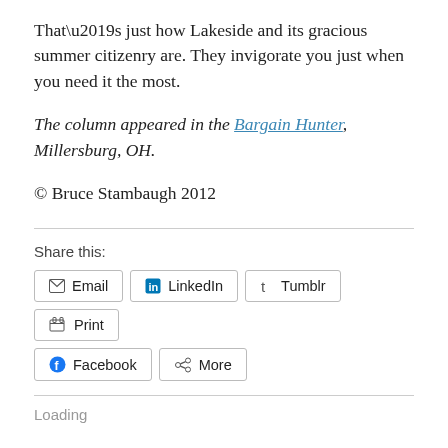That’s just how Lakeside and its gracious summer citizenry are. They invigorate you just when you need it the most.
The column appeared in the Bargain Hunter, Millersburg, OH.
© Bruce Stambaugh 2012
Share this:
Email  LinkedIn  Tumblr  Print  Facebook  More
Loading